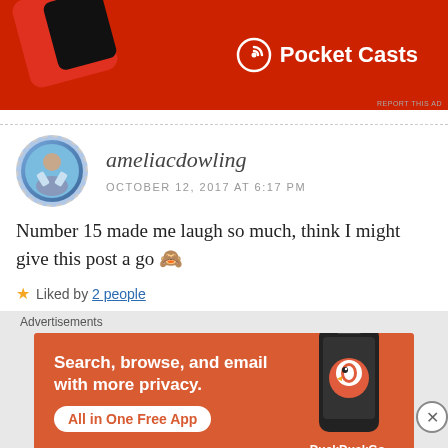[Figure (screenshot): Pocket Casts advertisement banner — red background with a phone device and Pocket Casts logo in white]
REPORT THIS AD
ameliacdowling
OCTOBER 12, 2017 AT 6:17 PM
Number 15 made me laugh so much, think I might give this post a go 🙈
★ Liked by 2 people
Advertisements
[Figure (screenshot): DuckDuckGo advertisement — orange/terracotta background with text 'Search, browse, and email with more privacy. All in One Free App' and a phone showing DuckDuckGo logo]